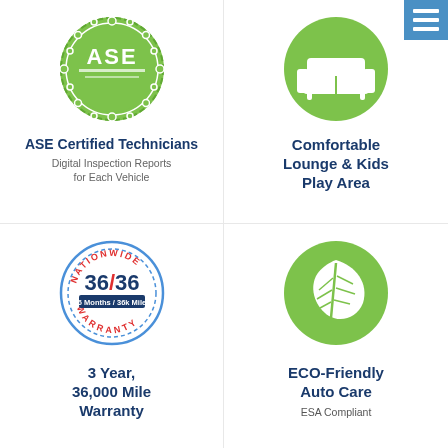[Figure (logo): ASE Certified Technicians green circle badge with gear border and ASE text]
ASE Certified Technicians
Digital Inspection Reports for Each Vehicle
[Figure (illustration): Green circle with white armchair/sofa icon inside]
[Figure (other): Blue hamburger menu button with three white lines]
Comfortable Lounge & Kids Play Area
[Figure (logo): Nationwide 36/36 Warranty badge - circular with red and blue text, 36 Months/36k Miles]
3 Year, 36,000 Mile Warranty
[Figure (illustration): Green circle with white leaf icon inside]
ECO-Friendly Auto Care
ESA Compliant